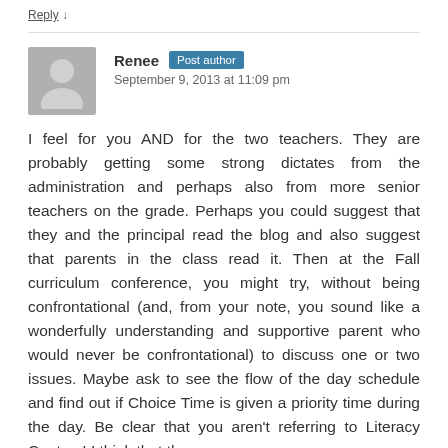Reply ↓
Renee  Post author
September 9, 2013 at 11:09 pm
I feel for you AND for the two teachers. They are probably getting some strong dictates from the administration and perhaps also from more senior teachers on the grade. Perhaps you could suggest that they and the principal read the blog and also suggest that parents in the class read it. Then at the Fall curriculum conference, you might try, without being confrontational (and, from your note, you sound like a wonderfully understanding and supportive parent who would never be confrontational) to discuss one or two issues. Maybe ask to see the flow of the day schedule and find out if Choice Time is given a priority time during the day. Be clear that you aren't referring to Literacy Centers! I think that the